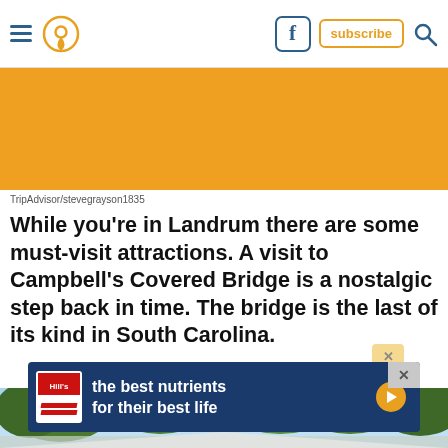Navigation header with hamburger menu, location pin icon, Facebook icon, subscribe button, and search icon
[Figure (photo): Orange/amber colored banner placeholder image]
TripAdvisor/stevegrayson1835
While you're in Landrum there are some must-visit attractions. A visit to Campbell's Covered Bridge is a nostalgic step back in time. The bridge is the last of its kind in South Carolina.
[Figure (photo): Outdoor photo showing trees against a blue sky, with covered bridge roof visible at bottom]
[Figure (screenshot): Hill's pet food advertisement banner: 'the best nutrients for their best life' with Hills logo and play button]